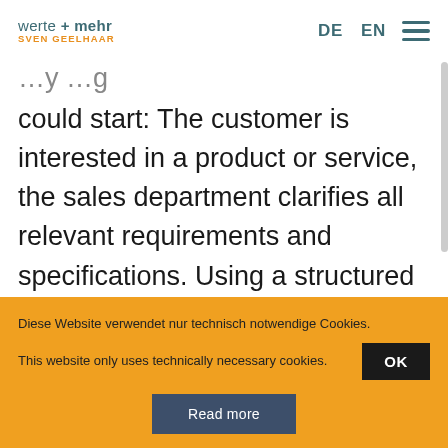werte + mehr SVEN GEELHAAR  DE  EN
could start: The customer is interested in a product or service, the sales department clarifies all relevant requirements and specifications. Using a structured process to check
Diese Website verwendet nur technisch notwendige Cookies.
This website only uses technically necessary cookies.
OK
Read more